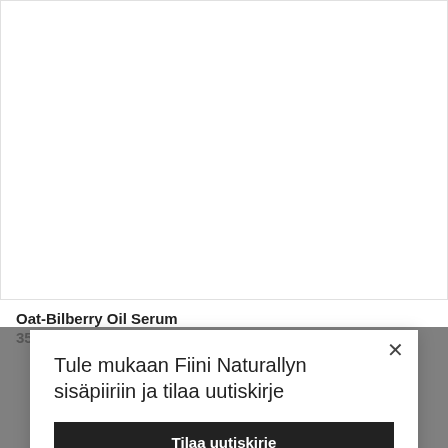[Figure (photo): Product image area — white background product photo placeholder]
Oat-Bilberry Oil Serum
35,90 €
Tule mukaan Fiini Naturallyn sisäpiiriin ja tilaa uutiskirje
Tilaa uutiskirje
Tämä sivusto käyttää evästeitä käyttökokemuksen parantamiseksi. Jatkamalla sivuston käyttöä hyväksyt evästeiden käytön.
OK